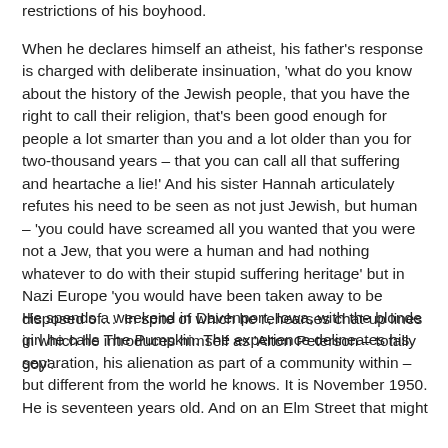restrictions of his boyhood.
When he declares himself an atheist, his father's response is charged with deliberate insinuation, 'what do you know about the history of the Jewish people, that you have the right to call their religion, that's been good enough for people a lot smarter than you and a lot older than you for two-thousand years – that you can call all that suffering and heartache a lie!' And his sister Hannah articulately refutes his need to be seen as not just Jewish, but human – 'you could have screamed all you wanted that you were not a Jew, that you were a human and had nothing whatever to do with their stupid suffering heritage' but in Nazi Europe 'you would have been taken away to be disposed of…' In spite of which he rehearses chat-up lines in which he introduces himself as 'Alton Peterson – totally goy'.
He spends a weekend in Davenport, Iowa, with the blonde girl he calls The Pumpkin. The experience delineates his separation, his alienation as part of a community within – but different from the world he knows. It is November 1950. He is seventeen years old. And on an Elm Street that might